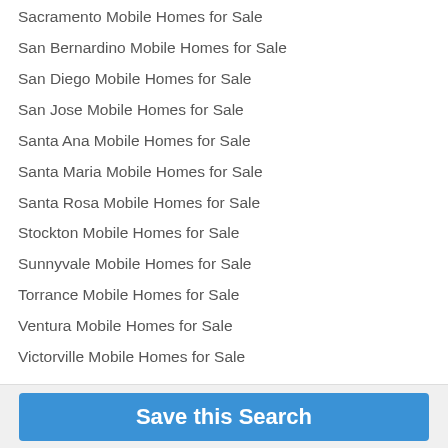Sacramento Mobile Homes for Sale
San Bernardino Mobile Homes for Sale
San Diego Mobile Homes for Sale
San Jose Mobile Homes for Sale
Santa Ana Mobile Homes for Sale
Santa Maria Mobile Homes for Sale
Santa Rosa Mobile Homes for Sale
Stockton Mobile Homes for Sale
Sunnyvale Mobile Homes for Sale
Torrance Mobile Homes for Sale
Ventura Mobile Homes for Sale
Victorville Mobile Homes for Sale
Save this Search